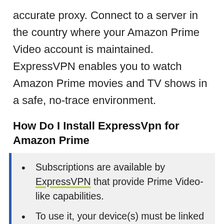accurate proxy. Connect to a server in the country where your Amazon Prime Video account is maintained. ExpressVPN enables you to watch Amazon Prime movies and TV shows in a safe, no-trace environment.
How Do I Install ExpressVpn for Amazon Prime
Subscriptions are available by ExpressVPN that provide Prime Video-like capabilities.
To use it, your device(s) must be linked to your ExpressVPN.
The ExpressVPN service must be activated.
Select the server from your Prime Video